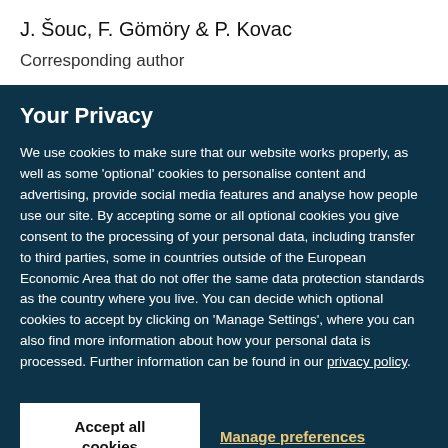J. Šouc, F. Gömöry & P. Kovac
Corresponding author
Your Privacy
We use cookies to make sure that our website works properly, as well as some 'optional' cookies to personalise content and advertising, provide social media features and analyse how people use our site. By accepting some or all optional cookies you give consent to the processing of your personal data, including transfer to third parties, some in countries outside of the European Economic Area that do not offer the same data protection standards as the country where you live. You can decide which optional cookies to accept by clicking on 'Manage Settings', where you can also find more information about how your personal data is processed. Further information can be found in our privacy policy.
Accept all cookies
Manage preferences